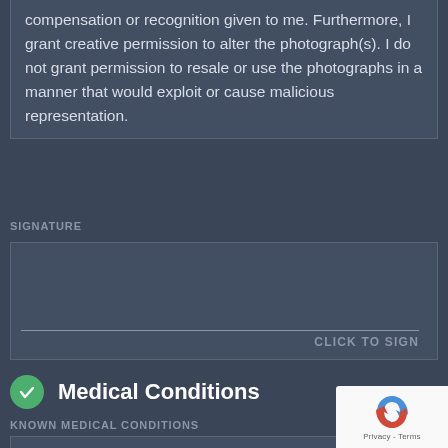compensation or recognition given to me. Furthermore, I grant creative permission to alter the photograph(s). I do not grant permission to resale or use the photographs in a manner that would exploit or cause malicious representation.
SIGNATURE
[Figure (other): Signature input box with a horizontal line and 'CLICK TO SIGN' button prompt]
Medical Conditions
KNOWN MEDICAL CONDITIONS
[Figure (other): Text input area for known medical conditions]